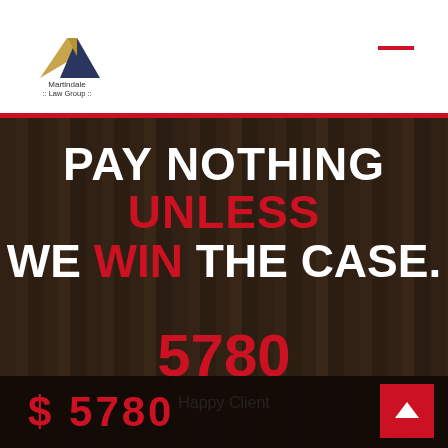[Figure (logo): Martindale Law Group logo with mountain/triangle icon in gold and dark blue, text below reading 'Martindale :: Law Group ::']
PAY NOTHING UNLESS WE WIN THE CASE.
5780
Happy Client
$ 5780